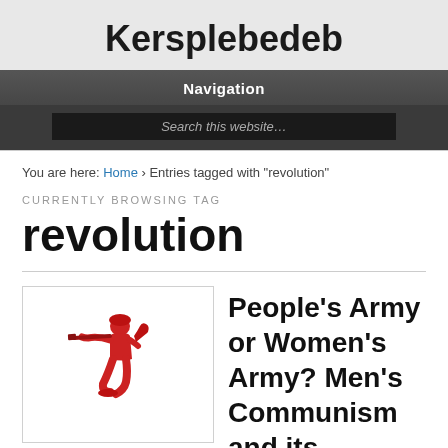Kersplebedeb
Navigation
Search this website…
You are here: Home › Entries tagged with "revolution"
CURRENTLY BROWSING TAG
revolution
[Figure (illustration): Red illustration of a soldier kneeling and aiming a rifle]
People's Army or Women's Army? Men's Communism and its